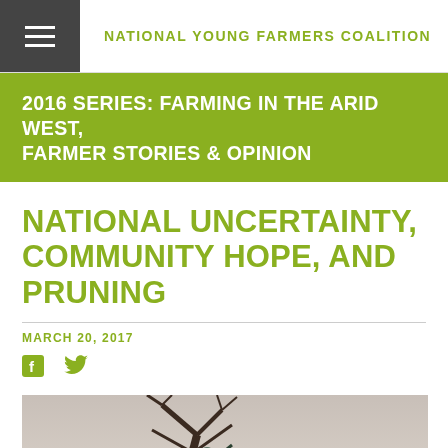NATIONAL YOUNG FARMERS COALITION
2016 SERIES: FARMING IN THE ARID WEST, FARMER STORIES & OPINION
NATIONAL UNCERTAINTY, COMMUNITY HOPE, AND PRUNING
MARCH 20, 2017
[Figure (photo): Person pruning a tree outdoors, with bare branches and a pale sky background]